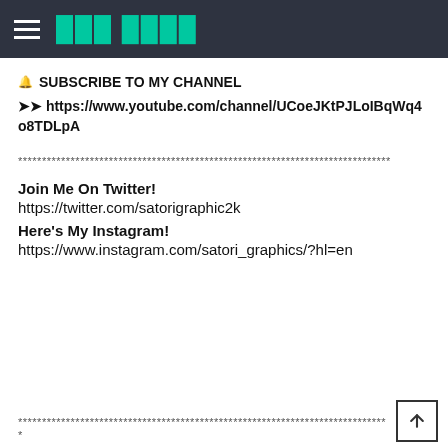☰ 🔲🔲🔲 🔲🔲🔲🔲
🔔 SUBSCRIBE TO MY CHANNEL
➤➤ https://www.youtube.com/channel/UCoeJKtPJLoIBqWq4o8TDLpA
******************************************************************************
Join Me On Twitter!
https://twitter.com/satorigraphic2k
Here's My Instagram!
https://www.instagram.com/satori_graphics/?hl=en
******************************************************************************